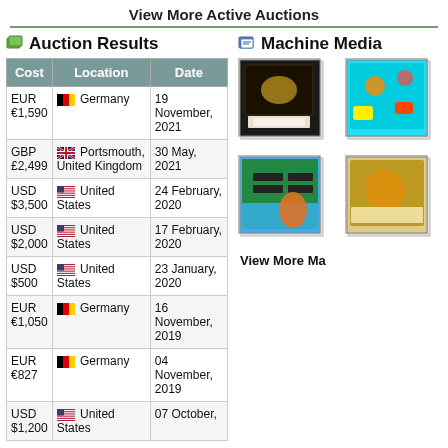View More Active Auctions
Auction Results
| Cost | Location | Date |
| --- | --- | --- |
| EUR €1,590 | Germany | 19 November, 2021 |
| GBP £2,499 | Portsmouth, United Kingdom | 30 May, 2021 |
| USD $3,500 | United States | 24 February, 2020 |
| USD $2,000 | United States | 17 February, 2020 |
| USD $500 | United States | 23 January, 2020 |
| EUR €1,050 | Germany | 16 November, 2019 |
| EUR €827 | Germany | 04 November, 2019 |
| USD $1,200 | United States | 07 October, ... |
Machine Media
[Figure (photo): Photo of pinball machine - top view]
[Figure (photo): Photo of pinball machine playfield - partial]
[Figure (photo): Photo of pinball machine backglass with surfer artwork]
[Figure (photo): Photo of pinball machine - partial side view]
View More Ma